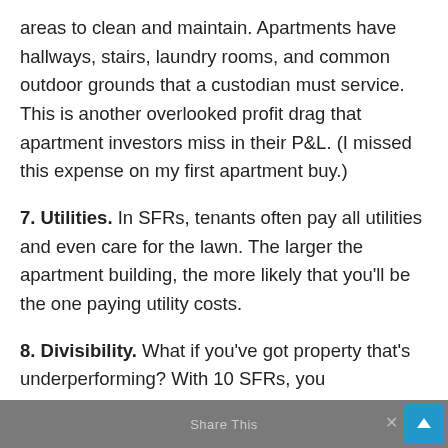areas to clean and maintain. Apartments have hallways, stairs, laundry rooms, and common outdoor grounds that a custodian must service. This is another overlooked profit drag that apartment investors miss in their P&L. (I missed this expense on my first apartment buy.)
7. Utilities. In SFRs, tenants often pay all utilities and even care for the lawn. The larger the apartment building, the more likely that you'll be the one paying utility costs.
8. Divisibility. What if you've got property that's underperforming? With 10 SFRs, you
Share This